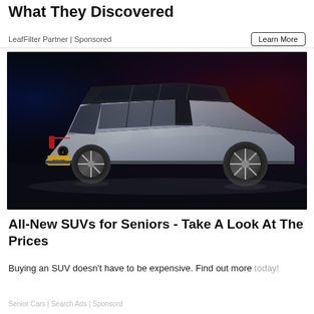What They Discovered
LeafFilter Partner | Sponsored
Learn More
[Figure (photo): Silver/gray electric SUV (Fisker) photographed from rear three-quarter angle in a dark studio with blue and red ambient lighting. The vehicle has distinctive angular styling, a panoramic glass roof, large alloy wheels, and a Fisker badge/license plate.]
All-New SUVs for Seniors - Take A Look At The Prices
Buying an SUV doesn't have to be expensive. Find out more today!
Senior Cars | Search Ads | Sponsord